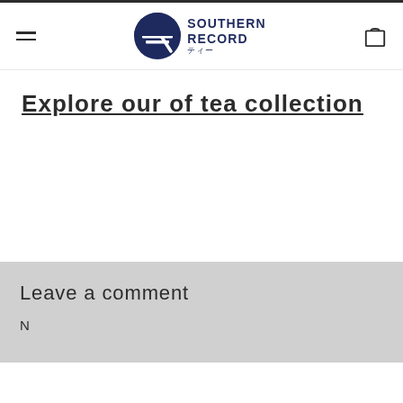SOUTHERN RECORD ティー
Explore our of tea collection
Leave a comment
N...